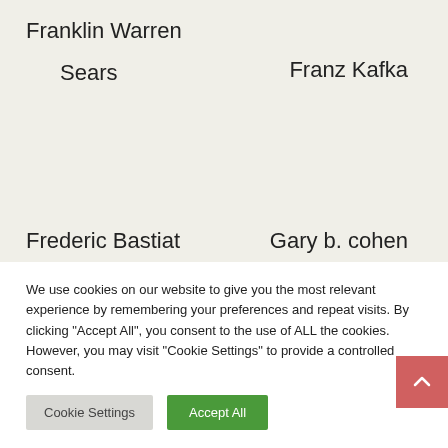Franklin Warren
Sears
Franz Kafka
Frederic Bastiat
Gary b. cohen
We use cookies on our website to give you the most relevant experience by remembering your preferences and repeat visits. By clicking "Accept All", you consent to the use of ALL the cookies. However, you may visit "Cookie Settings" to provide a controlled consent.
Cookie Settings
Accept All